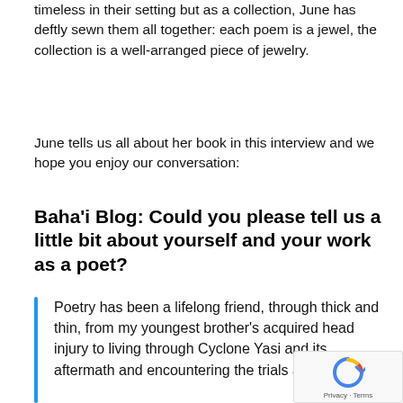timeless in their setting but as a collection, June has deftly sewn them all together: each poem is a jewel, the collection is a well-arranged piece of jewelry.
June tells us all about her book in this interview and we hope you enjoy our conversation:
Baha'i Blog: Could you please tell us a little bit about yourself and your work as a poet?
Poetry has been a lifelong friend, through thick and thin, from my youngest brother's acquired head injury to living through Cyclone Yasi and its aftermath and encountering the trials and